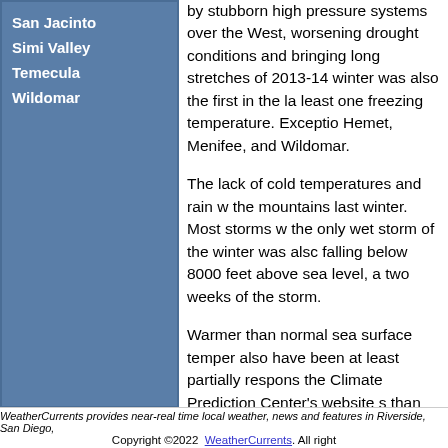San Jacinto
Simi Valley
Temecula
Wildomar
by stubborn high pressure systems over the West, worsening drought conditions and bringing long stretches of 2013-14 winter was also the first in the last one freezing temperature. Exceptio Hemet, Menifee, and Wildomar.
The lack of cold temperatures and rain w the mountains last winter. Most storms w the only wet storm of the winter was also falling below 8000 feet above sea level, a two weeks of the storm.
Warmer than normal sea surface temper also have been at least partially respons the Climate Prediction Center's website s than normal summer in Southern Californ
WeatherCurrents provides near-real time local weather, news and features in Riverside, San Diego, Copyright ©2022  WeatherCurrents. All right